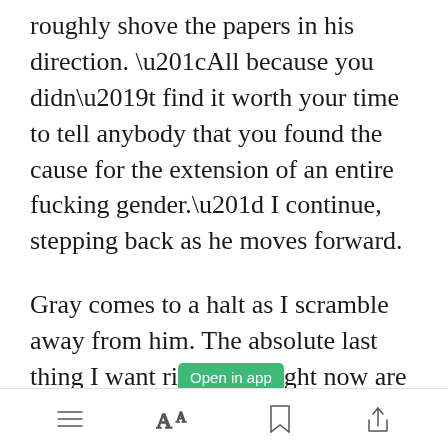roughly shove the papers in his direction. “All because you didn’t find it worth your time to tell anybody that you found the cause for the extension of an entire fucking gender.” I continue, stepping back as he moves forward.
Gray comes to a halt as I scramble away from him. The absolute last thing I want right now are his hands
[Figure (screenshot): Green 'Open in app' button overlay on the text]
Toolbar with menu, font, bookmark, and share icons